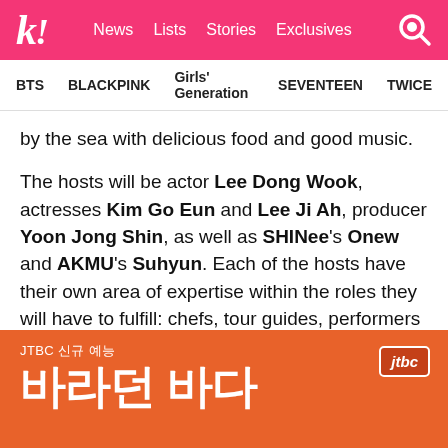K! News Lists Stories Exclusives
BTS   BLACKPINK   Girls' Generation   SEVENTEEN   TWICE
by the sea with delicious food and good music.
The hosts will be actor Lee Dong Wook, actresses Kim Go Eun and Lee Ji Ah, producer Yoon Jong Shin, as well as SHINee's Onew and AKMU's Suhyun. Each of the hosts have their own area of expertise within the roles they will have to fulfill: chefs, tour guides, performers and baking.
[Figure (photo): Orange promotional image for JTBC new variety show '바라던 바다' with JTBC logo in the top right corner. Text reads 'JTBC 신규 예능' (JTBC new variety show) above the large Korean title '바라던 바다'.]